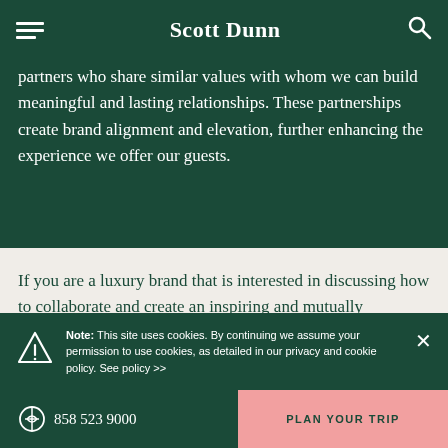Scott Dunn
partners who share similar values with whom we can build meaningful and lasting relationships. These partnerships create brand alignment and elevation, further enhancing the experience we offer our guests.
If you are a luxury brand that is interested in discussing how to collaborate and create an inspiring and mutually beneficial
Note: This site uses cookies. By continuing we assume your permission to use cookies, as detailed in our privacy and cookie policy. See policy >>
858 523 9000  PLAN YOUR TRIP